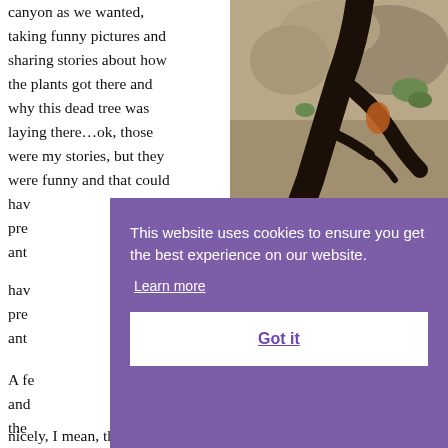canyon as we wanted, taking funny pictures and sharing stories about how the plants got there and why this dead tree was laying there…ok, those were my stories, but they were funny and that could have been pretty cool prehistorically, and...
[Figure (photo): A photo of a dead, gnarled dark tree trunk lying among rocks and sparse desert vegetation in a canyon setting.]
A few... and... the...
nicely, I mean, those of you that live in places where it
[Figure (other): Cookie consent overlay with purple background. Text reads: 'This website uses cookies to ensure you get the best experience on our website.' with a 'Learn more' link and a 'Got it' button.]